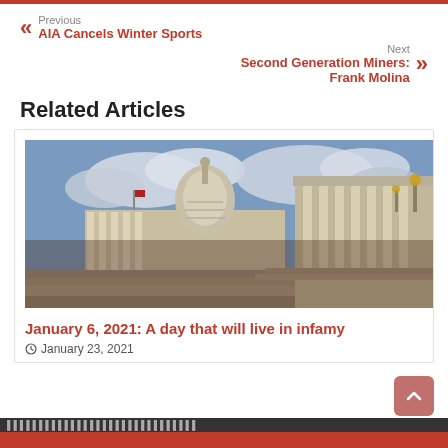Previous
AIA Cancels Winter Sports
Next
Second Generation Miners: Frank Molina
Related Articles
[Figure (photo): Photograph of the United States Capitol building taken from a low angle, showing the dome and classical columns, with steps in the foreground and a cloudy sky in the background.]
January 6, 2021: A day that will live in infamy
January 23, 2021